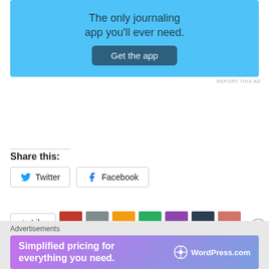[Figure (screenshot): Advertisement banner with light blue background showing 'The only journaling app you'll ever need.' and a 'Get the app' button]
REPORT THIS AD
Share this:
[Figure (screenshot): Twitter and Facebook share buttons]
[Figure (screenshot): Like button with star icon and 7 blogger avatar thumbnails]
7 bloggers like this.
Advertisements
[Figure (screenshot): WordPress.com advertisement banner with gradient purple-blue background: 'Simplified pricing for everything you need. WordPress.com']